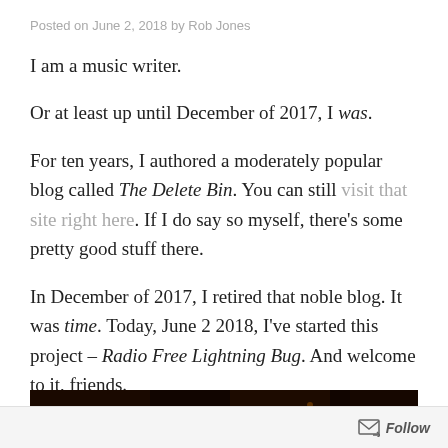Posted on June 2, 2018 by Rob Jones
I am a music writer.
Or at least up until December of 2017, I was.
For ten years, I authored a moderately popular blog called The Delete Bin. You can still visit that site right here. If I do say so myself, there's some pretty good stuff there.
In December of 2017, I retired that noble blog. It was time. Today, June 2 2018, I've started this project – Radio Free Lightning Bug. And welcome to it, friends.
[Figure (photo): Dark nighttime photograph showing trees or foliage with faint orange/amber glowing lights, possibly fireflies or distant fire.]
Follow